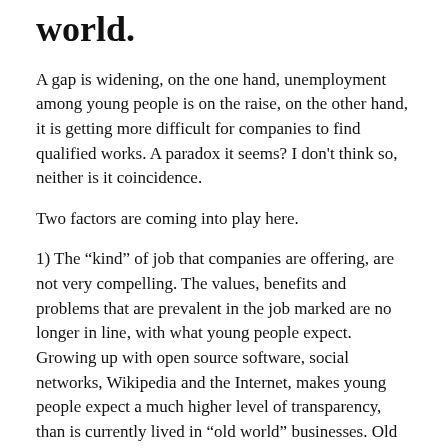world.
A gap is widening, on the one hand, unemployment among young people is on the raise, on the other hand, it is getting more difficult for companies to find qualified works. A paradox it seems? I don’t think so, neither is it coincidence.
Two factors are coming into play here.
1) The “kind” of job that companies are offering, are not very compelling. The values, benefits and problems that are prevalent in the job marked are no longer in line, with what young people expect. Growing up with open source software, social networks, Wikipedia and the Internet, makes young people expect a much higher level of transparency, than is currently lived in “old world” businesses. Old world businesses are a lot about projecting an